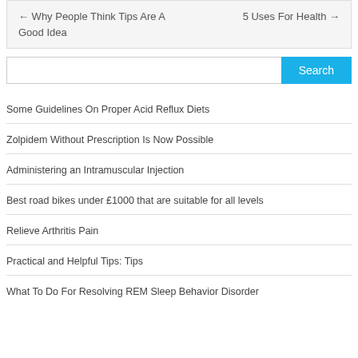← Why People Think Tips Are A Good Idea
5 Uses For Health →
Search
Some Guidelines On Proper Acid Reflux Diets
Zolpidem Without Prescription Is Now Possible
Administering an Intramuscular Injection
Best road bikes under £1000 that are suitable for all levels
Relieve Arthritis Pain
Practical and Helpful Tips: Tips
What To Do For Resolving REM Sleep Behavior Disorder